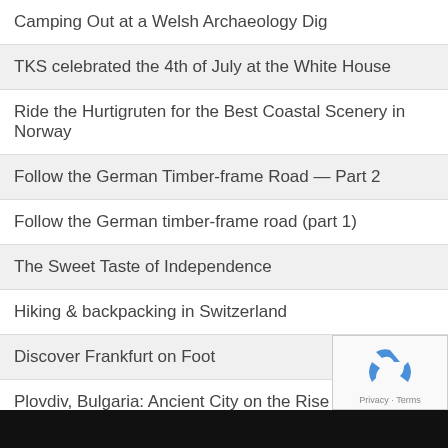Camping Out at a Welsh Archaeology Dig
TKS celebrated the 4th of July at the White House
Ride the Hurtigruten for the Best Coastal Scenery in Norway
Follow the German Timber-frame Road — Part 2
Follow the German timber-frame road (part 1)
The Sweet Taste of Independence
Hiking & backpacking in Switzerland
Discover Frankfurt on Foot
Plovdiv, Bulgaria: Ancient City on the Rise